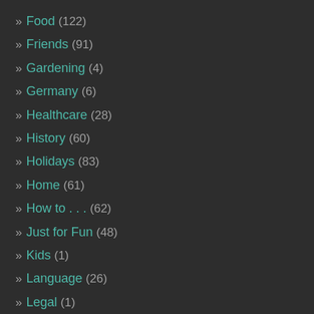» Food (122)
» Friends (91)
» Gardening (4)
» Germany (6)
» Healthcare (28)
» History (60)
» Holidays (83)
» Home (61)
» How to . . . (62)
» Just for Fun (48)
» Kids (1)
» Language (26)
» Legal (1)
» Music (19)